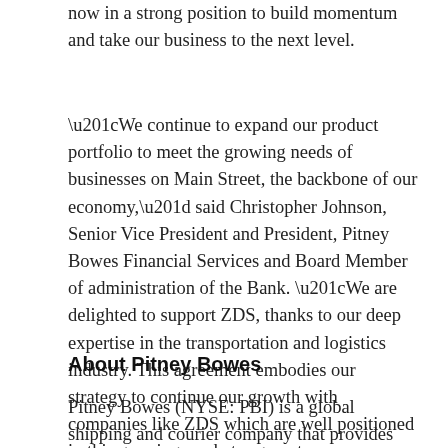now in a strong position to build momentum and take our business to the next level.
“We continue to expand our product portfolio to meet the growing needs of businesses on Main Street, the backbone of our economy,” said Christopher Johnson, Senior Vice President and President, Pitney Bowes Financial Services and Board Member of administration of the Bank. “We are delighted to support ZDS, thanks to our deep expertise in the transportation and logistics industry. This agreement embodies our strategy to continue our growth with companies like ZDS which are well positioned in this growing market segment.
About Pitney Bowes
Pitney Bowes (NYSE: PBI) is a global shipping and courier company that provides technology, logistics and financial services to more than 90% of Fortune 500 companies.